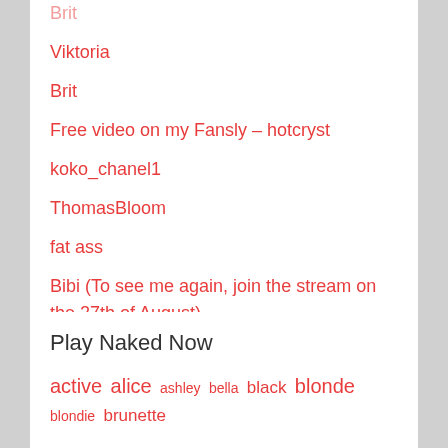Viktoria
Brit
Free video on my Fansly – hotcryst
koko_chanel1
ThomasBloom
fat ass
Bibi (To see me again, join the stream on the 27th of August)
Akila and Daria
Play Naked Now
active alice ashley bella black blonde blondie brunette